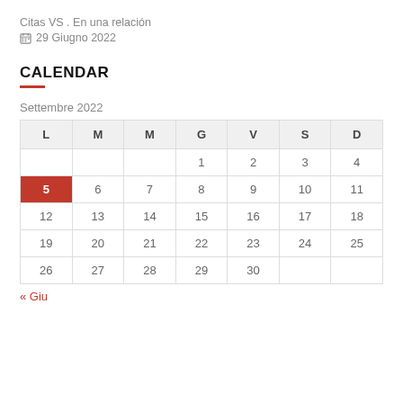Citas VS . En una relación
29 Giugno 2022
CALENDAR
Settembre 2022
| L | M | M | G | V | S | D |
| --- | --- | --- | --- | --- | --- | --- |
|  |  |  | 1 | 2 | 3 | 4 |
| 5 | 6 | 7 | 8 | 9 | 10 | 11 |
| 12 | 13 | 14 | 15 | 16 | 17 | 18 |
| 19 | 20 | 21 | 22 | 23 | 24 | 25 |
| 26 | 27 | 28 | 29 | 30 |  |  |
« Giu